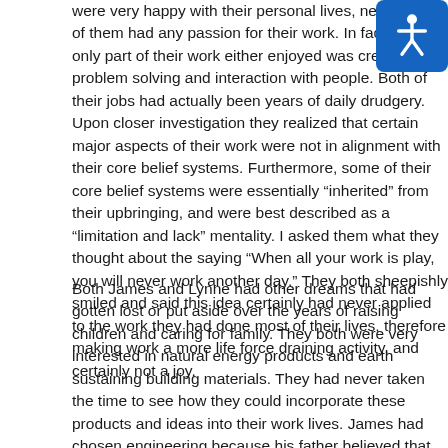were very happy with their personal lives, neither one of them had any passion for their work. In fact, the only part of their work either enjoyed was creative problem solving and interaction with people. Both of their jobs had actually been years of daily drudgery. Upon closer investigation they realized that certain major aspects of their work were not in alignment with their core belief systems. Furthermore, some of their core belief systems were essentially “inherited” from their upbringing, and were best described as a “limitation and lack” mentality. I asked them what they thought about the saying “When all your work is play, you will never work another day.” They both sheepishly smiled and said this idea certainly had never applied to the work they had done most of their lives, therefore making work a more life force draining activity, and certainly not a joy.
Both James and Lynne had other dreams that had gotten lost or put aside over the years of raising children and caring for family. They both were very interested in natural energy products and earth sustaining building materials. They had never taken the time to see how they could incorporate these products and ideas into their work lives. James had chosen engineering because his father believed that he should do something safe and honorable. Lynne had loved raising her children and caring for family but had never gotten around to the creative things she had always loved to do. Neither one of them could define or pursue their